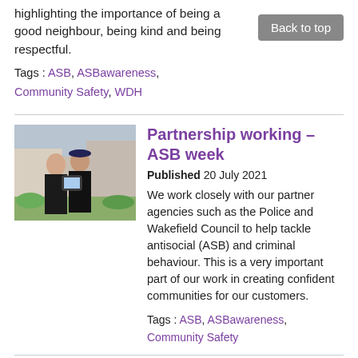highlighting the importance of being a good neighbour, being kind and being respectful.
Tags : ASB, ASBawareness, Community Safety, WDH
[Figure (photo): Two people in black uniforms looking at a tablet device outdoors, with buildings in the background.]
Partnership working – ASB week
Published 20 July 2021
We work closely with our partner agencies such as the Police and Wakefield Council to help tackle antisocial (ASB) and criminal behaviour. This is a very important part of our work in creating confident communities for our customers.
Tags : ASB, ASBawareness, Community Safety